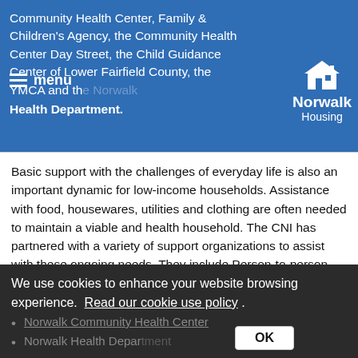Community Health Center, Family & Children's Agency, the Community Health Center Day Street, the Child Guidance Center of Lower Fairfield County, the YMCA and the Norwalk Health Department.
Basic support with the challenges of everyday life is also an important dynamic for low-income households. Assistance with food, housewares, utilities and clothing are often needed to maintain a viable and health household. The CNI has partnered with a variety of support organizations to assist with these ongoing needs. They include Person-to-person, the Human Services Council, Homes with Hope, the Calvary Baptist Church and The Senior Umbrella.
Health & Wellness Partners
Caregiver Resource Center
Norwalk Community Health Center
Norwalk Health Department
We use cookies to enhance your website browsing experience. Read our cookie use policy .